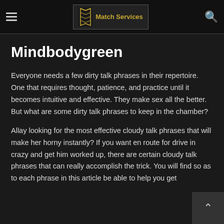Match Services
Mindbodygreen
Everyone needs a few dirty talk phrases in their repertoire. One that requires thought, patience, and practice until it becomes intuitive and effective. They make sex all the better. But what are some dirty talk phrases to keep in the chamber?
Allay looking for the most effective cloudy talk phrases that will make her horny instantly? If you want en route for drive in crazy and get him worked up, there are certain cloudy talk phrases that can really accomplish the trick. You will find so as to each phrase in this article be able to help you get